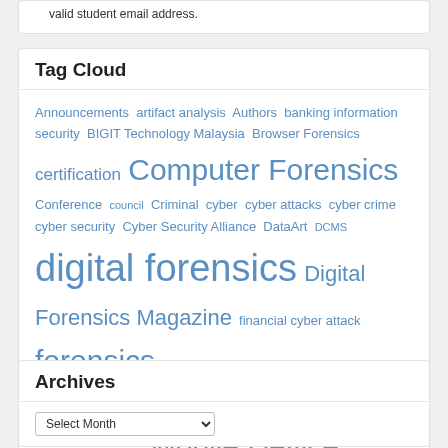valid student email address.
Tag Cloud
Announcements artifact analysis Authors banking information security BIGIT Technology Malaysia Browser Forensics certification Computer Forensics Conference council Criminal cyber cyber attacks cyber crime cyber security Cyber Security Alliance DataArt DCMS digital forensics Digital Forensics Magazine financial cyber attack forensics Forensic Tools GPS illegal software Investigations iOS4 iPad iPhone John Edge Messaging Mobile Mobile Device Forensics mobile forensics papers Privacy Profiling Reviewers software pirating Survey Techniques training triage virtualization Witness
Archives
Select Month